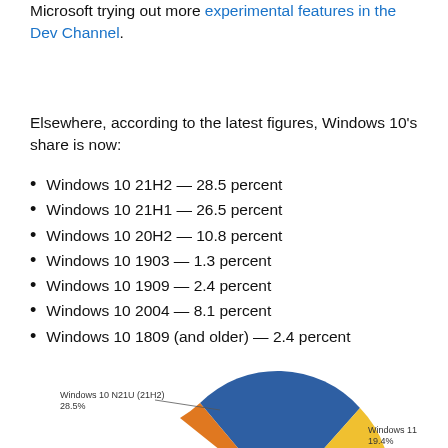Microsoft trying out more experimental features in the Dev Channel.
Elsewhere, according to the latest figures, Windows 10's share is now:
Windows 10 21H2 — 28.5 percent
Windows 10 21H1 — 26.5 percent
Windows 10 20H2 — 10.8 percent
Windows 10 1903 — 1.3 percent
Windows 10 1909 — 2.4 percent
Windows 10 2004 — 8.1 percent
Windows 10 1809 (and older) — 2.4 percent
[Figure (pie-chart): Windows OS Market Share]